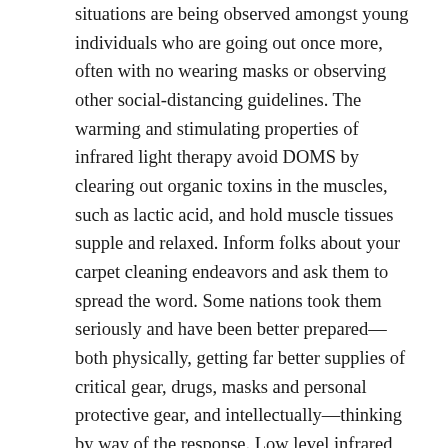situations are being observed amongst young individuals who are going out once more, often with no wearing masks or observing other social-distancing guidelines. The warming and stimulating properties of infrared light therapy avoid DOMS by clearing out organic toxins in the muscles, such as lactic acid, and hold muscle tissues supple and relaxed. Inform folks about your carpet cleaning endeavors and ask them to spread the word. Some nations took them seriously and have been better prepared—both physically, getting far better supplies of critical gear, drugs, masks and personal protective gear, and intellectually—thinking by way of the response. Low level infrared therapies can be utilized for up to twenty 4 hours at a time, or on several consecutive days, so infrared therapy can be component of your daily instruction routine. Stork Cooperheat styles, manufactures and